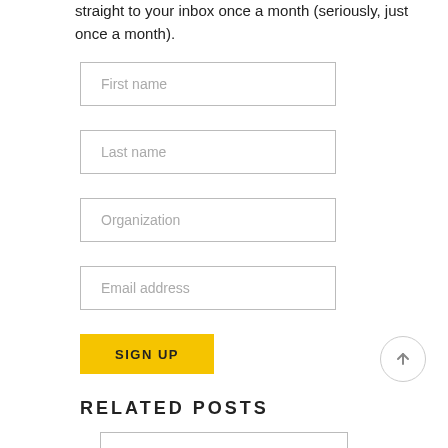straight to your inbox once a month (seriously, just once a month).
First name
Last name
Organization
Email address
SIGN UP
RELATED POSTS